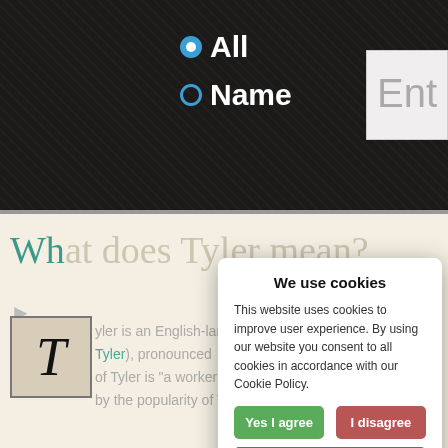[Figure (screenshot): Dark textured top bar with radio button options 'All' (selected, blue) and 'Name', and a partial input field showing 'Ent']
What does Tyler mean?
[Figure (screenshot): Cookie consent modal dialog with title 'We use cookies', body text, Yes I agree (green), I disagree (red), Read more (gray) buttons, and footer 'Free cookie consent by cookie-script.com']
Tyler is an English-language personal name (also u... Tyler), pronounced... It of Tyler is "a worker in roof tiles". Occ by the popularity of Tyler... ar